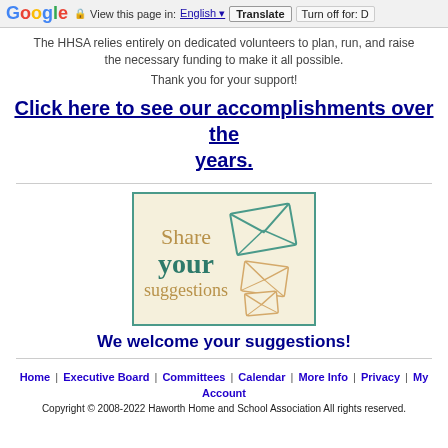Google | View this page in: English | Translate | Turn off for: D
The HHSA relies entirely on dedicated volunteers to plan, run, and raise the necessary funding to make it all possible.
Thank you for your support!
Click here to see our accomplishments over the years.
[Figure (illustration): Share your suggestions banner with envelope icons on cream/beige background with teal border]
We welcome your suggestions!
Home | Executive Board | Committees | Calendar | More Info | Privacy | My Account
Copyright © 2008-2022 Haworth Home and School Association All rights reserved.